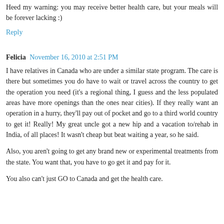Heed my warning: you may receive better health care, but your meals will be forever lacking :)
Reply
Felicia  November 16, 2010 at 2:51 PM
I have relatives in Canada who are under a similar state program. The care is there but sometimes you do have to wait or travel across the country to get the operation you need (it's a regional thing, I guess and the less populated areas have more openings than the ones near cities). If they really want an operation in a hurry, they'll pay out of pocket and go to a third world country to get it! Really! My great uncle got a new hip and a vacation to/rehab in India, of all places! It wasn't cheap but beat waiting a year, so he said.
Also, you aren't going to get any brand new or experimental treatments from the state. You want that, you have to go get it and pay for it.
You also can't just GO to Canada and get the health care.